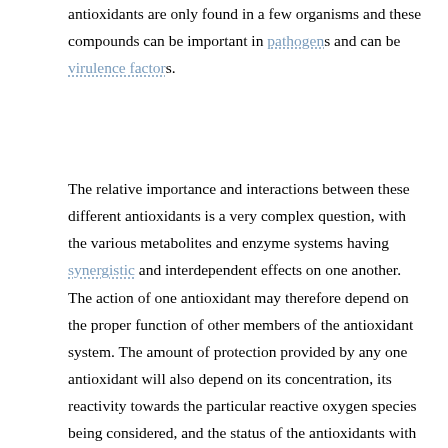antioxidants are only found in a few organisms and these compounds can be important in pathogens and can be virulence factors.
The relative importance and interactions between these different antioxidants is a very complex question, with the various metabolites and enzyme systems having synergistic and interdependent effects on one another. The action of one antioxidant may therefore depend on the proper function of other members of the antioxidant system. The amount of protection provided by any one antioxidant will also depend on its concentration, its reactivity towards the particular reactive oxygen species being considered, and the status of the antioxidants with which it interacts.